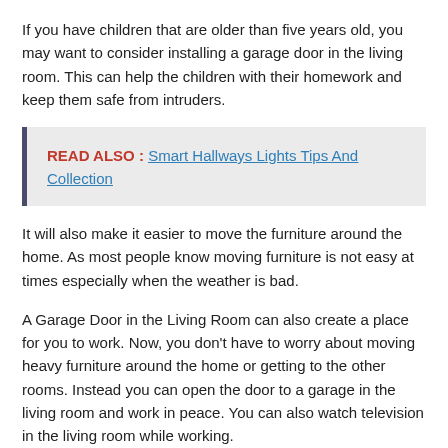If you have children that are older than five years old, you may want to consider installing a garage door in the living room. This can help the children with their homework and keep them safe from intruders.
READ ALSO : Smart Hallways Lights Tips And Collection
It will also make it easier to move the furniture around the home. As most people know moving furniture is not easy at times especially when the weather is bad.
A Garage Door in the Living Room can also create a place for you to work. Now, you don't have to worry about moving heavy furniture around the home or getting to the other rooms. Instead you can open the door to a garage in the living room and work in peace. You can also watch television in the living room while working.